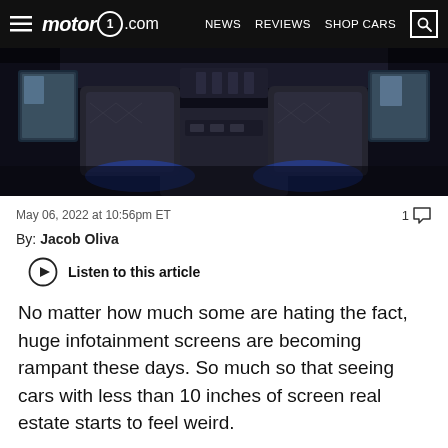motor1.com — NEWS   REVIEWS   SHOP CARS
[Figure (photo): Car interior rear cabin with ambient blue lighting, screens on sides, and central armrest console, dark background]
May 06, 2022 at 10:56pm ET
1 comment
By: Jacob Oliva
Listen to this article
No matter how much some are hating the fact, huge infotainment screens are becoming rampant these days. So much so that seeing cars with less than 10 inches of screen real estate starts to feel weird.